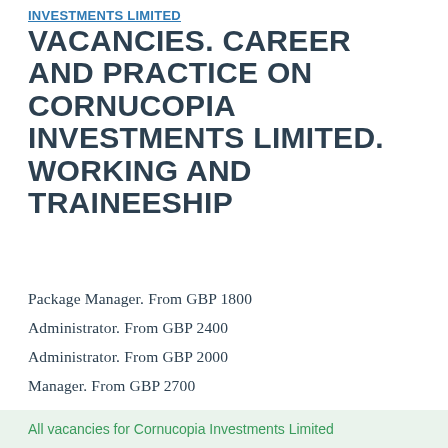INVESTMENTS LIMITED VACANCIES. CAREER AND PRACTICE ON CORNUCOPIA INVESTMENTS LIMITED. WORKING AND TRAINEESHIP
Package Manager. From GBP 1800
Administrator. From GBP 2400
Administrator. From GBP 2000
Manager. From GBP 2700
Other personal. From GBP 1300
All vacancies for Cornucopia Investments Limited